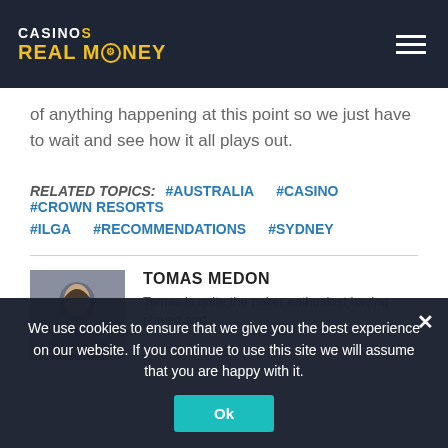CASINOS REAL MONEY
of anything happening at this point so we just have to wait and see how it all plays out.
RELATED TOPICS: #AUSTRALIA  #CASINO  #CROWN RESORTS  #ILGA  #RECOMMENDATIONS  #SYDNEY
TOMAS MEDON
Tomas is quite the poker enthusiast having played and
We use cookies to ensure that we give you the best experience on our website. If you continue to use this site we will assume that you are happy with it.